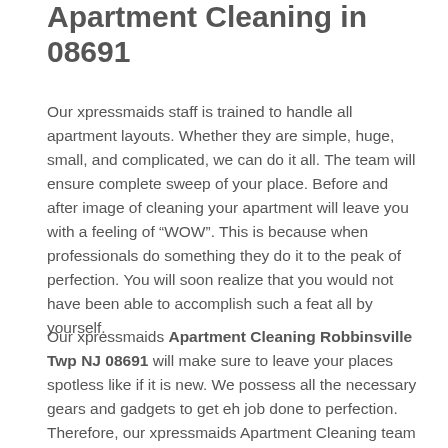Apartment Cleaning in 08691
Our xpressmaids staff is trained to handle all apartment layouts. Whether they are simple, huge, small, and complicated, we can do it all. The team will ensure complete sweep of your place. Before and after image of cleaning your apartment will leave you with a feeling of “WOW”. This is because when professionals do something they do it to the peak of perfection. You will soon realize that you would not have been able to accomplish such a feat all by yourself.
Our xpressmaids Apartment Cleaning Robbinsville Twp NJ 08691 will make sure to leave your places spotless like if it is new. We possess all the necessary gears and gadgets to get eh job done to perfection. Therefore, our xpressmaids Apartment Cleaning team is equipped with the latest cleansing tools for